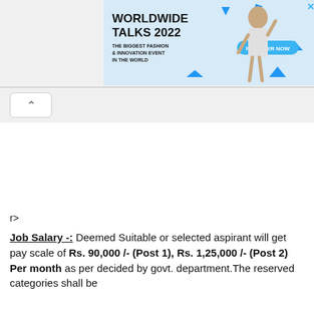[Figure (infographic): Advertisement banner for Worldwide Talks 2022 - The Biggest Fashion & Innovation Event in the World, with a Register Now button, decorative triangles, and a fashion model photo on a light blue background.]
r>
Job Salary -: Deemed Suitable or selected aspirant will get pay scale of Rs. 90,000 /- (Post 1), Rs. 1,25,000 /- (Post 2) Per month as per decided by govt. department.The reserved categories shall be